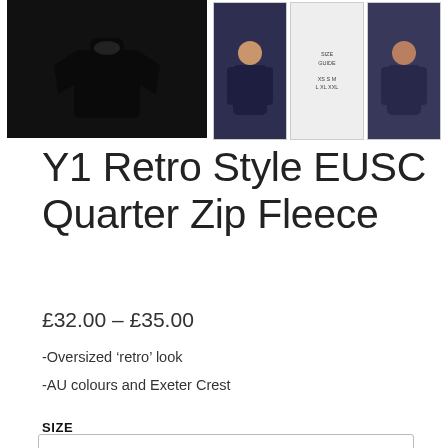[Figure (photo): Product photo of a black quarter zip fleece sweater (main image), with two smaller thumbnail images on the right showing the fleece in navy/dark blue worn by models, and a size guide thumbnail.]
Y1 Retro Style EUSC Quarter Zip Fleece
£32.00 – £35.00
-Oversized 'retro' look
-AU colours and Exeter Crest
SIZE
Choose an option
INITIALS